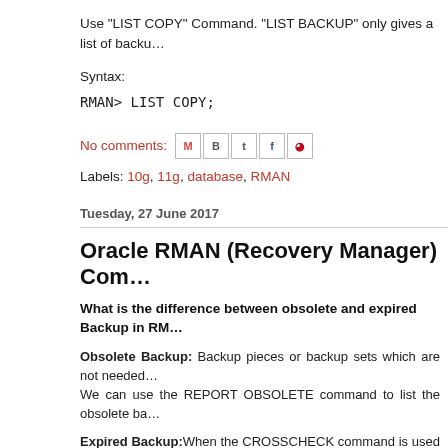Use "LIST COPY" Command. "LIST BACKUP" only gives a list of backu...
Syntax:
RMAN> LIST COPY;
No comments:
Labels: 10g, 11g, database, RMAN
Tuesday, 27 June 2017
Oracle RMAN (Recovery Manager) Com...
What is the difference between obsolete and expired Backup in RM...
Obsolete Backup: Backup pieces or backup sets which are not needed... We can use the REPORT OBSOLETE command to list the obsolete ba...
Expired Backup: When the CROSSCHECK command is used to dete... RMAN cannot locate the backups, then it updates their records in the... command to remove records of expired backups from the RMAN reposit...